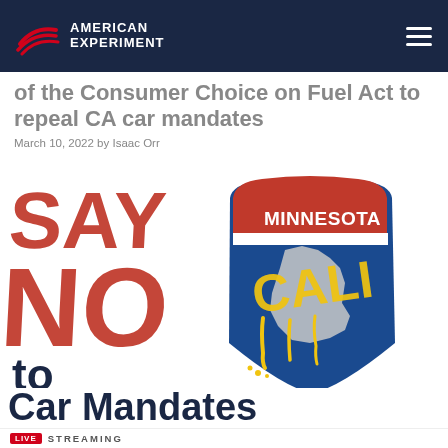American Experiment
of the Consumer Choice on Fuel Act to repeal CA car mandates
March 10, 2022 by Isaac Orr
[Figure (illustration): Promotional graphic showing large red text 'SAY NO' on the left, and a Minnesota interstate highway sign with 'CALIFORNIA' spray-painted in yellow graffiti over it, with text 'to California Car Mandates' below in dark navy blue.]
LIVE  STREAMING